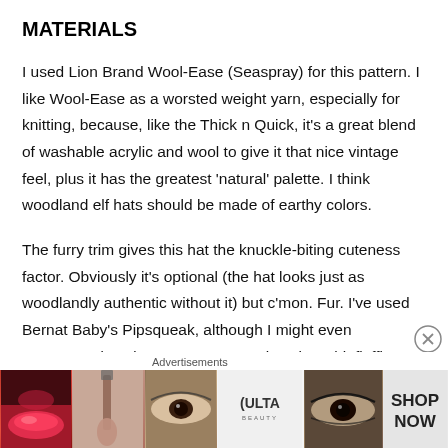MATERIALS
I used Lion Brand Wool-Ease (Seaspray) for this pattern.  I like Wool-Ease as a worsted weight yarn, especially for knitting, because, like the Thick n Quick, it's a great blend of washable acrylic and wool to give it that nice vintage feel, plus it has the greatest ‘natural’ palette.  I think woodland elf hats should be made of earthy colors.
The furry trim gives this hat the knuckle-biting cuteness factor.  Obviously it’s optional (the hat looks just as woodlandly authentic without it) but c’mon.  Fur.  I’ve used Bernat Baby’s Pipsqueak, although I might even recommend Red Heart Buttercup, since it’s a bit fluffier.
Advertisements
[Figure (photo): Advertisement banner for Ulta Beauty showing close-up beauty/makeup photos with SHOP NOW call to action]